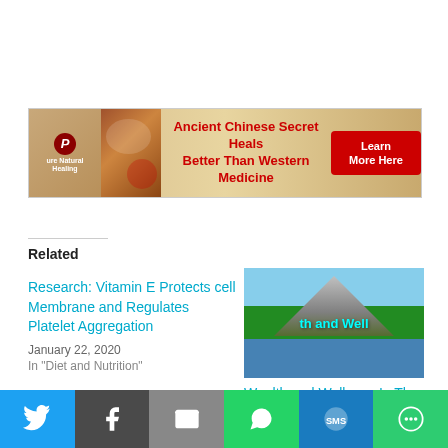[Figure (infographic): Advertisement banner for Pure Natural Healing: 'Ancient Chinese Secret Heals Better Than Western Medicine' with Learn More Here button]
Related
Research: Vitamin E Protects cell Membrane and Regulates Platelet Aggregation
January 22, 2020
In "Diet and Nutrition"
[Figure (photo): Mountain landscape with snow-capped peaks, trees, and lake reflection with overlay text 'th and Well']
Wealth and Wellness In The List of Top 100
[Figure (infographic): Social sharing bar with Twitter, Facebook, Email, WhatsApp, SMS, and More buttons]